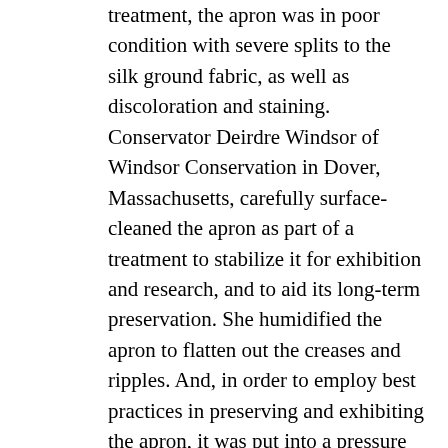treatment, the apron was in poor condition with severe splits to the silk ground fabric, as well as discoloration and staining. Conservator Deirdre Windsor of Windsor Conservation in Dover, Massachusetts, carefully surface-cleaned the apron as part of a treatment to stabilize it for exhibition and research, and to aid its long-term preservation. She humidified the apron to flatten out the creases and ripples. And, in order to employ best practices in preserving and exhibiting the apron, it was put into a pressure mount that provides full support of the fragile silk and protects the apron from airborne pollutants and soils.
The apron was donated to the Scottish Rite Masonic Museum & Library in 1976 by a